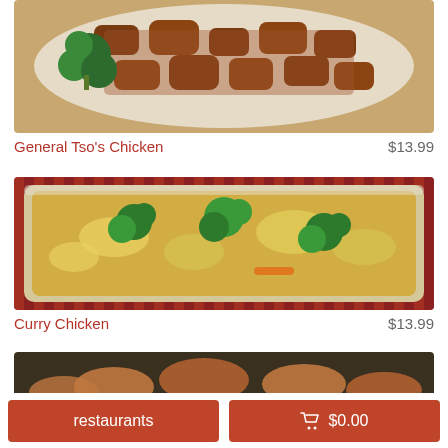[Figure (photo): General Tso's Chicken dish in a white bowl - glazed chicken pieces with broccoli]
General Tso's Chicken    $13.99
[Figure (photo): Curry Chicken dish in a plastic container - chicken with broccoli, cabbage, and carrots in yellow curry sauce on a striped tablecloth]
Curry Chicken    $13.99
[Figure (photo): Partial view of another food dish - dark background]
restaurants
$0.00